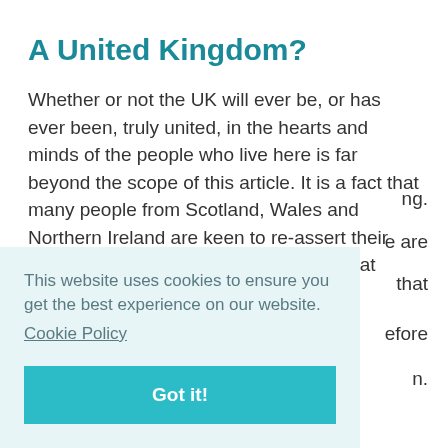A United Kingdom?
Whether or not the UK will ever be, or has ever been, truly united, in the hearts and minds of the people who live here is far beyond the scope of this article. It is a fact that many people from Scotland, Wales and Northern Ireland are keen to re-assert their independence from England and feel that [text continues behind cookie banner] ...ng. ...e are ...that ...efore ...n.
This website uses cookies to ensure you get the best experience on our website.
Cookie Policy
Got it!